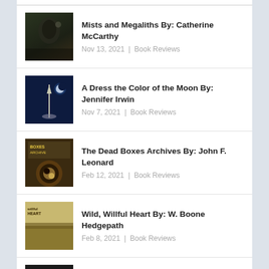Mists and Megaliths By: Catherine McCarthy
Nov 13, 2021 | Book Reviews
A Dress the Color of the Moon By: Jennifer Irwin
Nov 7, 2021 | Book Reviews
The Dead Boxes Archives By: John F. Leonard
Feb 12, 2021 | Book Reviews
Wild, Willful Heart By: W. Boone Hedgepath
Feb 8, 2021 | Book Reviews
A Stray Astray By: E.H. Night
Jan 31, 2021 | Book Reviews